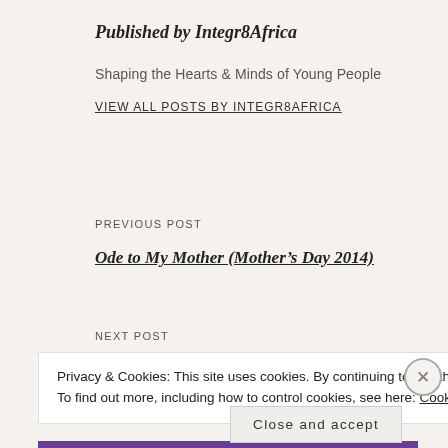Published by Integr8Africa
Shaping the Hearts & Minds of Young People
VIEW ALL POSTS BY INTEGR8AFRICA
PREVIOUS POST
Ode to My Mother (Mother’s Day 2014)
NEXT POST
Privacy & Cookies: This site uses cookies. By continuing to use this website, you agree to their use.
To find out more, including how to control cookies, see here: Cookie Policy
Close and accept